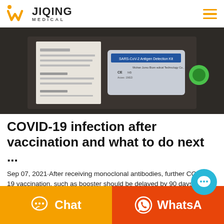JIQING MEDICAL
[Figure (photo): Photo of a SARS-CoV-2 Antigen Detection Kit packaging on a dark surface, with Japanese text document and CE marked pouch visible]
COVID-19 infection after vaccination and what to do next ...
Sep 07, 2021·After receiving monoclonal antibodies, further COVID-19 vaccination, such as booster should be delayed by 90 days to optimiz